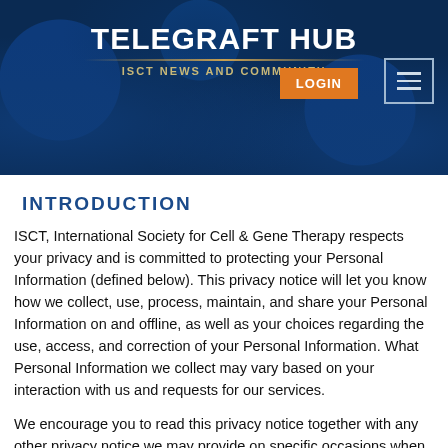TELEGRAFT HUB
ISCT NEWS AND COMMUNITY
INTRODUCTION
ISCT, International Society for Cell & Gene Therapy respects your privacy and is committed to protecting your Personal Information (defined below). This privacy notice will let you know how we collect, use, process, maintain, and share your Personal Information on and offline, as well as your choices regarding the use, access, and correction of your Personal Information. What Personal Information we collect may vary based on your interaction with us and requests for our services.
We encourage you to read this privacy notice together with any other privacy notice we may provide on specific occasions when we are collecting or using Personal Information about you so that you are fully aware of how